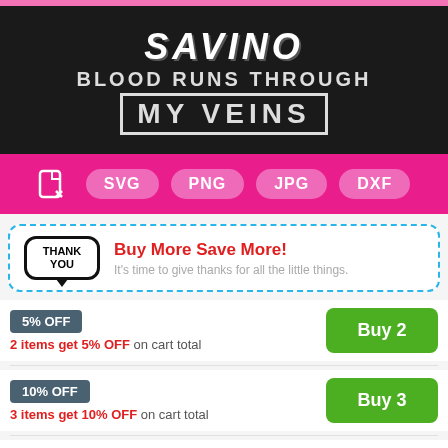[Figure (illustration): Product image on black background with text: SAVINO BLOOD RUNS THROUGH MY VEINS, with file format badges SVG PNG JPG DXF on pink background below]
Buy More Save More! It's time to give thanks for all the little things.
5% OFF
2 items get 5% OFF on cart total
Buy 2
10% OFF
3 items get 10% OFF on cart total
Buy 3
12% OFF
Buy 5